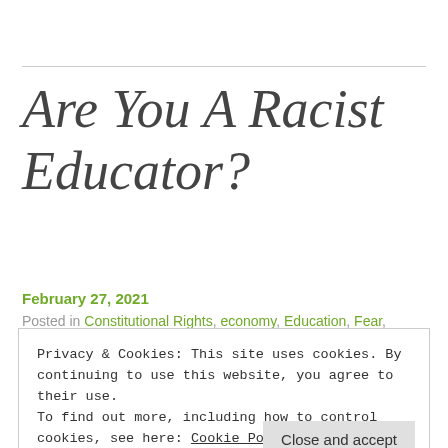Are You A Racist Educator?
February 27, 2021
Posted in Constitutional Rights, economy, Education, Fear,
Privacy & Cookies: This site uses cookies. By continuing to use this website, you agree to their use. To find out more, including how to control cookies, see here: Cookie Policy
Isn't it about time that we mature beyond skin